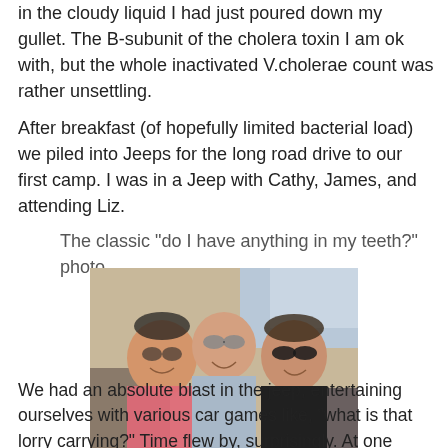in the cloudy liquid I had just poured down my gullet. The B-subunit of the cholera toxin I am ok with, but the whole inactivated V.cholerae count was rather unsettling.
After breakfast (of hopefully limited bacterial load) we piled into Jeeps for the long road drive to our first camp. I was in a Jeep with Cathy, James, and attending Liz.
The classic "do I have anything in my teeth?" photo...
[Figure (photo): Three people sitting inside a Jeep smiling at the camera. On the left is a person wearing a pink shirt and glasses holding something. In the middle is a bald man with reflective sunglasses wearing a light blue shirt. On the right is a woman wearing dark sunglasses and a black shirt.]
We had an absolute blast in the jeep, entertaining ourselves with various car games like, "what is that lorry carrying?" Time flew by, surprisingly. At one point we stopped to stretch our legs and get some air. I took this photo as it was not an